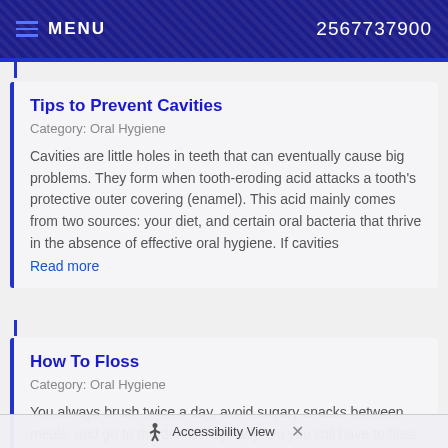MENU   2567737900
Tips to Prevent Cavities
Category: Oral Hygiene
Cavities are little holes in teeth that can eventually cause big problems. They form when tooth-eroding acid attacks a tooth's protective outer covering (enamel). This acid mainly comes from two sources: your diet, and certain oral bacteria that thrive in the absence of effective oral hygiene. If cavities
Read more
How To Floss
Category: Oral Hygiene
You always brush twice a day, avoid sugary snacks between meals, and go to the dentist regularly. Do you still have to floss your teeth? The short answer: Yes, at least once a day. Flossing is probably your single most important weapon ag bacterial